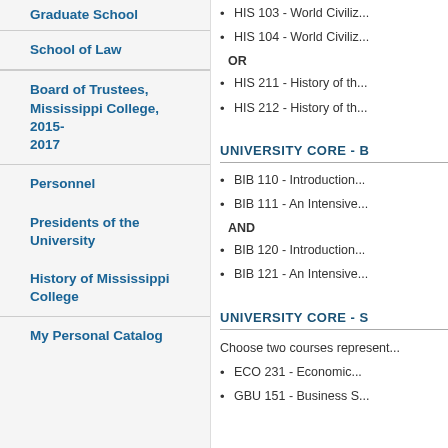Graduate School
School of Law
Board of Trustees, Mississippi College, 2015-2017
Personnel
Presidents of the University
History of Mississippi College
My Personal Catalog
HIS 103 - World Civiliz...
HIS 104 - World Civiliz...
OR
HIS 211 - History of th...
HIS 212 - History of th...
UNIVERSITY CORE - B
BIB 110 - Introduction...
BIB 111 - An Intensive...
AND
BIB 120 - Introduction...
BIB 121 - An Intensive...
UNIVERSITY CORE - S
Choose two courses represent...
ECO 231 - Economic...
GBU 151 - Business S...